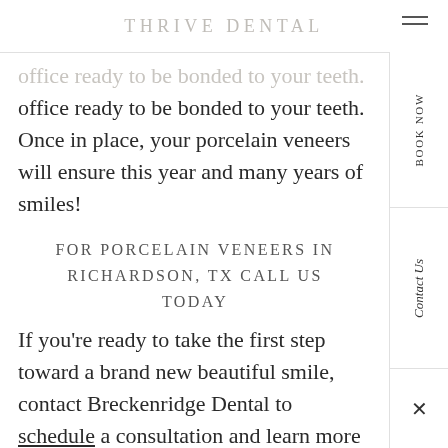THRIVE DENTAL
office ready to be bonded to your teeth. Once in place, your porcelain veneers will ensure this year and many years of smiles!
FOR PORCELAIN VENEERS IN RICHARDSON, TX CALL US TODAY
If you're ready to take the first step toward a brand new beautiful smile, contact Breckenridge Dental to schedule a consultation and learn more about your options.